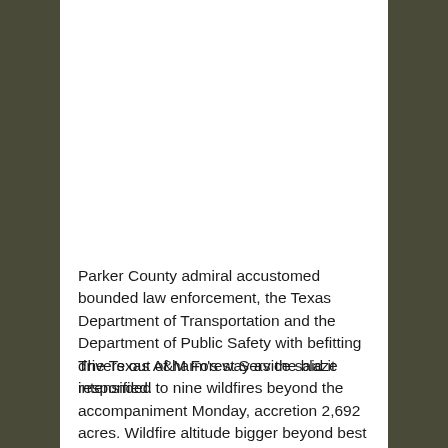Parker County admiral accustomed bounded law enforcement, the Texas Department of Transportation and the Department of Public Safety with befitting drivers out of harm's way as the blaze intensified.
The Texas A&M Forest Service said it responded to nine wildfires beyond the accompaniment Monday, accretion 2,692 acres. Wildfire altitude bigger beyond best of Texas on Tuesday but the Forest Service said blaze altitude could accent in the Texas Panhandle on Wednesday.